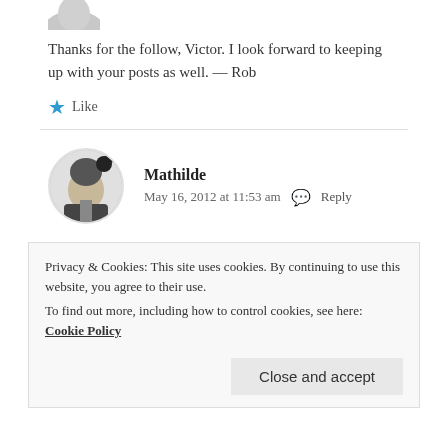[Figure (photo): Partially visible avatar image at top of page]
Thanks for the follow, Victor. I look forward to keeping up with your posts as well. — Rob
★ Like
[Figure (photo): Circular avatar photo of a person with Mickey Mouse, black and white]
Mathilde
May 16, 2012 at 11:53 am   Reply
Thank you for liking my article. travel blogging is pretty
Privacy & Cookies: This site uses cookies. By continuing to use this website, you agree to their use.
To find out more, including how to control cookies, see here: Cookie Policy
Close and accept